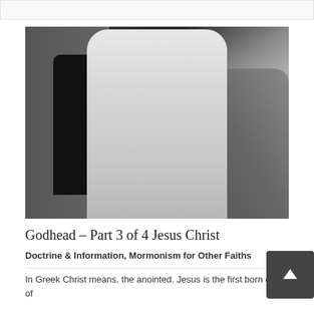[Figure (photo): Painting of Jesus Christ in white robes emerging from a stone tomb, with arm outstretched toward a dark doorway, looking upward, rocks visible in background]
Godhead – Part 3 of 4 Jesus Christ
Doctrine & Information, Mormonism for Other Faiths
In Greek Christ means, the anointed. Jesus is the first born of all of